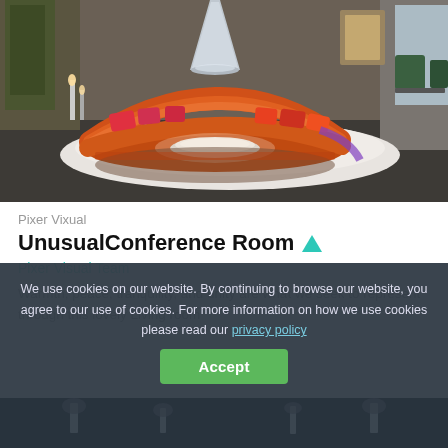[Figure (photo): Interior photo of a modern lounge/conference room with a circular orange sofa arrangement, decorative pillows, a central bowl/fireplace element, and a metallic cone-shaped pendant light. Green chairs visible in the background.]
Pixer Vixual
UnusualConference Room ▲
Pixer Visual Team
Warmth, peace, tranquility, and unity are what we seek to represent through this lovely Living room
We use cookies on our website. By continuing to browse our website, you agree to our use of cookies. For more information on how we use cookies please read our privacy policy